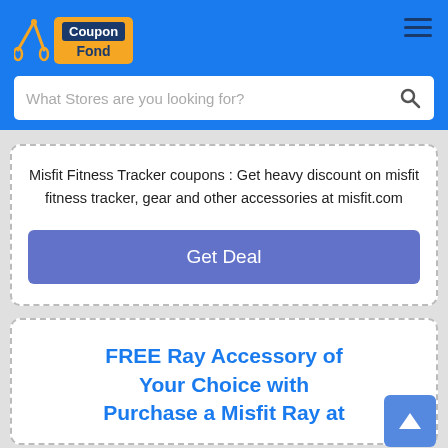CouponFond - What Stores are you looking for?
Misfit Fitness Tracker coupons : Get heavy discount on misfit fitness tracker, gear and other accessories at misfit.com
Get Deal
FREE Ray Accessory of Your Choice with Purchase a Misfit Ray at